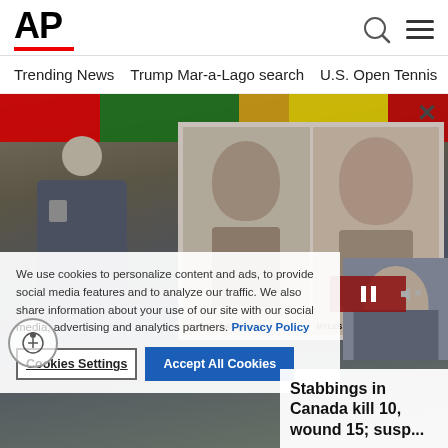AP
Trending News   Trump Mar-a-Lago search   U.S. Open Tennis
[Figure (photo): AP News website screenshot showing a photo of a police press conference with suspect ID photos being held up, with a cookie consent overlay and a news headline 'Stabbings in Canada kill 10, wound 15; susp...']
We use cookies to personalize content and ads, to provide social media features and to analyze our traffic. We also share information about your use of our site with our social media, advertising and analytics partners. Privacy Policy
Cookies Settings   Accept All Cookies
Stabbings in Canada kill 10, wound 15; susp...